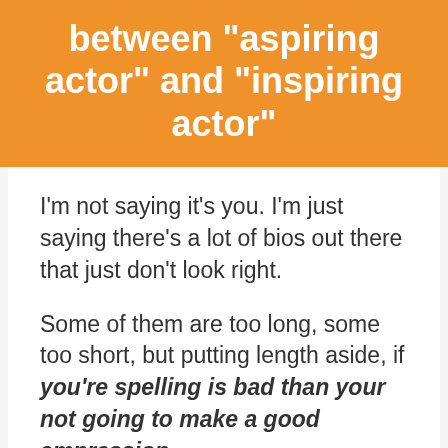between "aspiring actor" and "inspiring actor"
I'm not saying it's you. I'm just saying there's a lot of bios out there that just don't look right.
Some of them are too long, some too short, but putting length aside, if you're spelling is bad than your not going to make a good empression.
I'm tempted to do a search on twitter for bios containing the